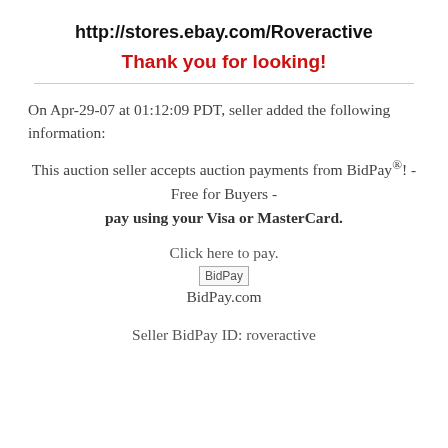http://stores.ebay.com/Roveractive
Thank you for looking!
On Apr-29-07 at 01:12:09 PDT, seller added the following information:
This auction seller accepts auction payments from BidPay®! - Free for Buyers - pay using your Visa or MasterCard.
Click here to pay.
[Figure (other): BidPay logo image (broken/placeholder image labeled BidPay)]
BidPay.com
Seller BidPay ID: roveractive